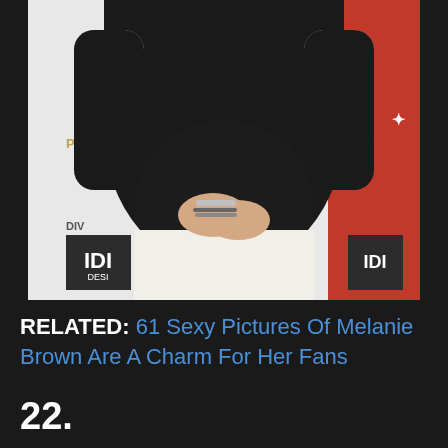[Figure (photo): A person wearing a black t-shirt and white pants standing in front of an event step-and-repeat backdrop with 'Project Angel' and 'Divine Design' logos. The person's hands are clasped in front of them and they are wearing bracelets.]
RELATED: 61 Sexy Pictures Of Melanie Brown Are A Charm For Her Fans
22.